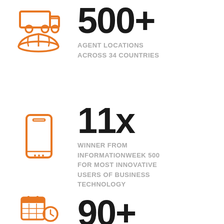[Figure (infographic): Orange icon: delivery truck above globe/world grid symbol]
500+
AGENT LOCATIONS ACROSS 34 COUNTRIES
11x
[Figure (infographic): Orange icon: smartphone/mobile phone]
WINNER FROM INFORMATIONWEEK 500 FOR MOST INNOVATIVE USERS OF BUSINESS TECHNOLOGY
90+
[Figure (infographic): Orange icon: calendar with clock]